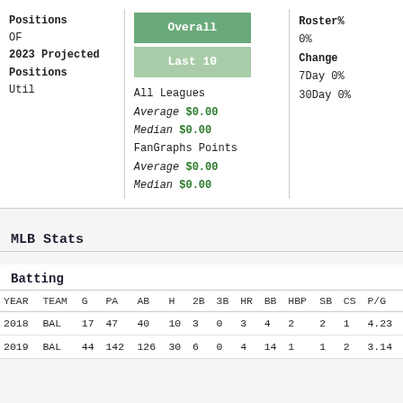Positions
OF
2023 Projected Positions
Util
Overall
Last 10
All Leagues
Average $0.00
Median $0.00
FanGraphs Points
Average $0.00
Median $0.00
Roster%
0%
Change
7Day 0%
30Day 0%
MLB Stats
Batting
| YEAR | TEAM | G | PA | AB | H | 2B | 3B | HR | BB | HBP | SB | CS | P/G |
| --- | --- | --- | --- | --- | --- | --- | --- | --- | --- | --- | --- | --- | --- |
| 2018 | BAL | 17 | 47 | 40 | 10 | 3 | 0 | 3 | 4 | 2 | 2 | 1 | 4.23 |
| 2019 | BAL | 44 | 142 | 126 | 30 | 6 | 0 | 4 | 14 | 1 | 1 | 2 | 3.14 |